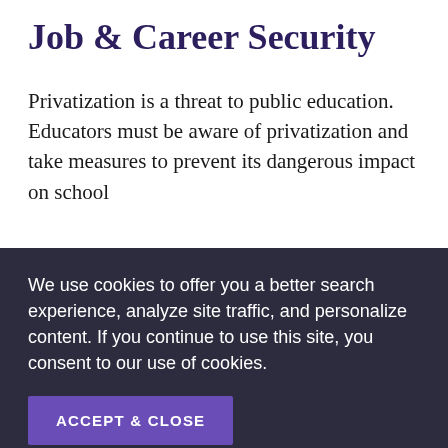Job & Career Security
Privatization is a threat to public education. Educators must be aware of privatization and take measures to prevent its dangerous impact on school
We use cookies to offer you a better search experience, analyze site traffic, and personalize content. If you continue to use this site, you consent to our use of cookies.
ACCEPT & CLOSE